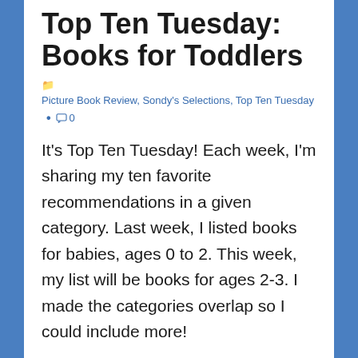Top Ten Tuesday: Books for Toddlers
Picture Book Review, Sondy's Selections, Top Ten Tuesday • 0
It's Top Ten Tuesday! Each week, I'm sharing my ten favorite recommendations in a given category. Last week, I listed books for babies, ages 0 to 2. This week, my list will be books for ages 2-3. I made the categories overlap so I could include more!
Again, I'll provide links to my reviews if I've written one, and links to Amazon if not.